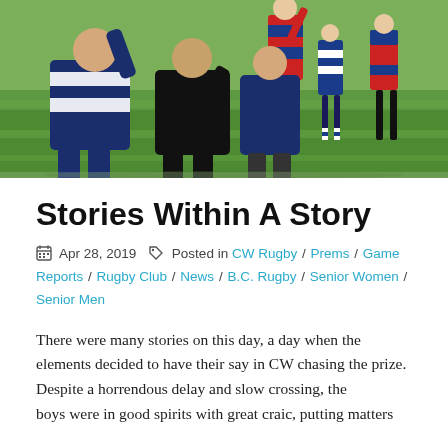[Figure (photo): Rugby players in a match on a grass field. Players in blue and white hooped jerseys and dark jerseys competing. Sunny day.]
Stories Within A Story
Apr 28, 2019   Posted in CW Rugby / Prems / Game Reports / Rugby Club / News / B.C. Rugby / Senior Women / Senior Men
There were many stories on this day, a day when the elements decided to have their say in CW chasing the prize. Despite a horrendous delay and slow crossing, the boys were in good spirits with great craic, putting matters